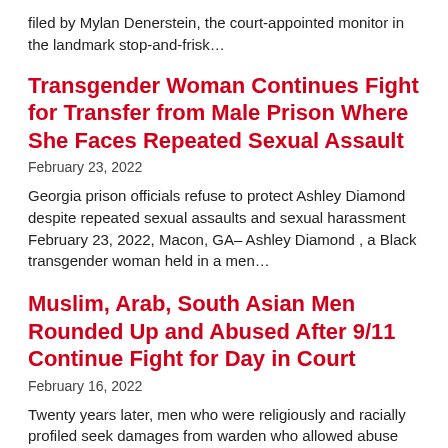filed by Mylan Denerstein, the court-appointed monitor in the landmark stop-and-frisk...
Transgender Woman Continues Fight for Transfer from Male Prison Where She Faces Repeated Sexual Assault
February 23, 2022
Georgia prison officials refuse to protect Ashley Diamond despite repeated sexual assaults and sexual harassment February 23, 2022, Macon, GA– Ashley Diamond , a Black transgender woman held in a men...
Muslim, Arab, South Asian Men Rounded Up and Abused After 9/11 Continue Fight for Day in Court
February 16, 2022
Twenty years later, men who were religiously and racially profiled seek damages from warden who allowed abuse